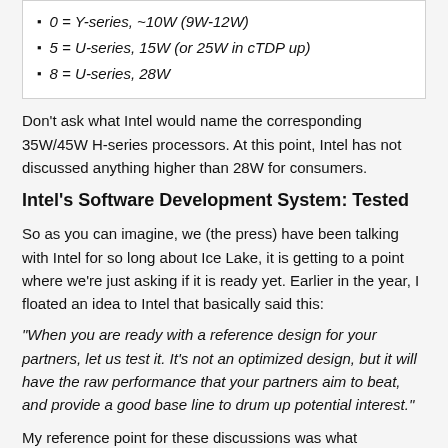0 = Y-series, ~10W (9W-12W)
5 = U-series, 15W (or 25W in cTDP up)
8 = U-series, 28W
Don't ask what Intel would name the corresponding 35W/45W H-series processors. At this point, Intel has not discussed anything higher than 28W for consumers.
Intel's Software Development System: Tested
So as you can imagine, we (the press) have been talking with Intel for so long about Ice Lake, it is getting to a point where we're just asking if it is ready yet. Earlier in the year, I floated an idea to Intel that basically said this:
“When you are ready with a reference design for your partners, let us test it. It’s not an optimized design, but it will have the raw performance that your partners aim to beat, and provide a good base line to drum up potential interest.”
My reference point for these discussions was what Qualcomm does on the smartphone side. For multiple generations, Qualcomm has invited select press to come test its ‘Qualcomm Reference